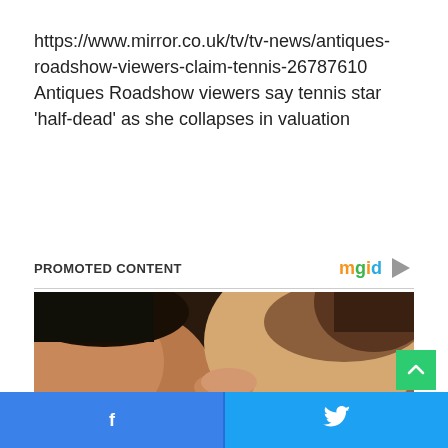https://www.mirror.co.uk/tv/tv-news/antiques-roadshow-viewers-claim-tennis-26787610 Antiques Roadshow viewers say tennis star 'half-dead' as she collapses in valuation
PROMOTED CONTENT
[Figure (photo): A couple kissing closely, man with dark hair on left, woman with brown hair on right, warm skin tones, intimate close-up photo]
[Figure (logo): mgid logo with colorful letters and play button icon]
[Figure (other): Green scroll-to-top button with up arrow]
[Figure (other): Social share bar with Facebook (blue) and Twitter (light blue) buttons at the bottom of the page]